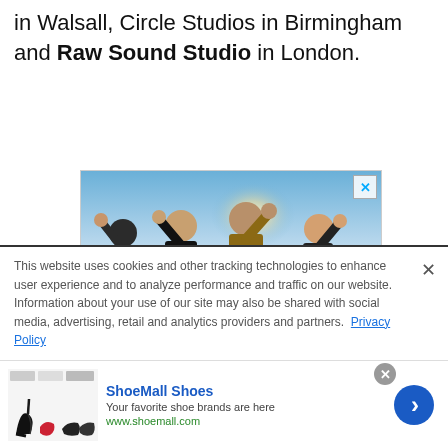in Walsall, Circle Studios in Birmingham and Raw Sound Studio in London.
[Figure (photo): Advertisement image for Thundermother band showing four women in rock poses with the band name THUNDERMOTHER in bold red letters on dark background]
This website uses cookies and other tracking technologies to enhance user experience and to analyze performance and traffic on our website. Information about your use of our site may also be shared with social media, advertising, retail and analytics providers and partners. Privacy Policy
[Figure (screenshot): ShoeMall Shoes advertisement banner showing shoe images, brand name in blue, tagline 'Your favorite shoe brands are here', and website URL www.shoemall.com]